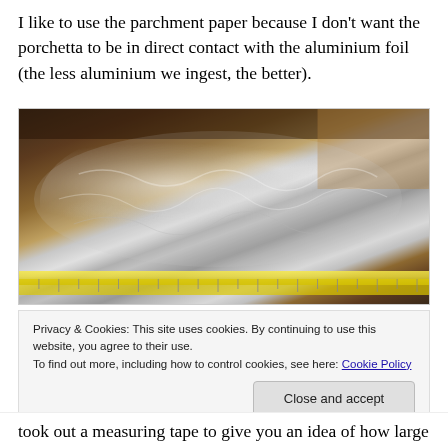I like to use the parchment paper because I don't want the porchetta to be in direct contact with the aluminium foil (the less aluminium we ingest, the better).
[Figure (photo): A large porchetta wrapped in crinkled aluminium foil sitting on a wooden surface, with a measuring tape laid along the bottom showing its length.]
Privacy & Cookies: This site uses cookies. By continuing to use this website, you agree to their use.
To find out more, including how to control cookies, see here: Cookie Policy
Close and accept
took out a measuring tape to give you an idea of how large